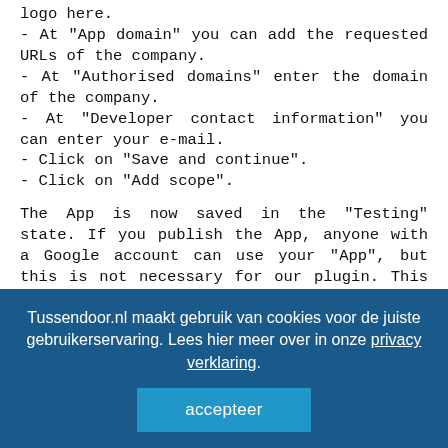logo here.
- At "App domain" you can add the requested URLs of the company.
- At "Authorised domains" enter the domain of the company.
- At "Developer contact information" you can enter your e-mail.
- Click on "Save and continue".
- Click on "Add scope".
The App is now saved in the "Testing" state. If you publish the App, anyone with a Google account can use your "App", but this is not necessary for our plugin. This way you ensure that only the specified Google account(s) can use your Google My Business API.
Tussendoor.nl maakt gebruik van cookies voor de juiste gebruikerservaring. Lees hier meer over in onze privacy verklaring.
accepteer